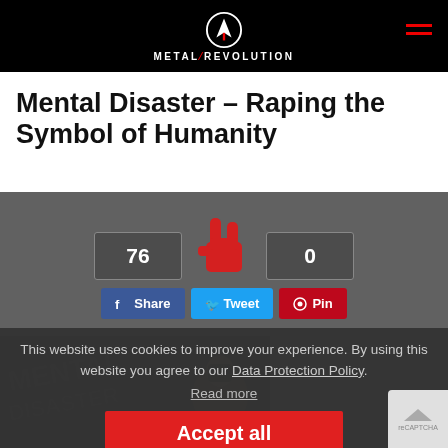METAL REVOLUTION
Mental Disaster – Raping the Symbol of Humanity
[Figure (screenshot): Social share counts showing 76 likes, rock hand icon in center, and 0 shares. Share buttons: Share (Facebook), Tweet (Twitter), Pin (Pinterest).]
This website uses cookies to improve your experience. By using this website you agree to our Data Protection Policy.
Read more
Accept all